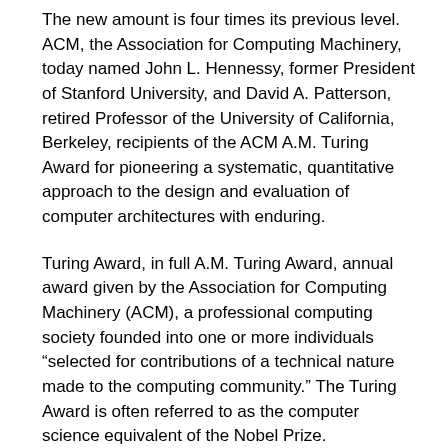The new amount is four times its previous level. ACM, the Association for Computing Machinery, today named John L. Hennessy, former President of Stanford University, and David A. Patterson, retired Professor of the University of California, Berkeley, recipients of the ACM A.M. Turing Award for pioneering a systematic, quantitative approach to the design and evaluation of computer architectures with enduring.
Turing Award, in full A.M. Turing Award, annual award given by the Association for Computing Machinery (ACM), a professional computing society founded into one or more individuals “selected for contributions of a technical nature made to the computing community.” The Turing Award is often referred to as the computer science equivalent of the Nobel Prize.
On March 21 st, ACM named John L. Hennessy and David A. Patterson recipients of the ACM A.M. Turing Award for pioneering a systematic, quantitative approach to the design and evaluation of computer architectures with enduring impact on